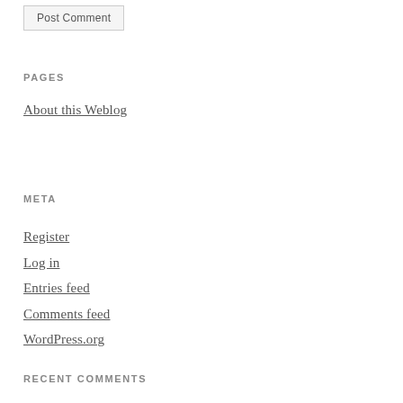Post Comment
PAGES
About this Weblog
META
Register
Log in
Entries feed
Comments feed
WordPress.org
RECENT COMMENTS